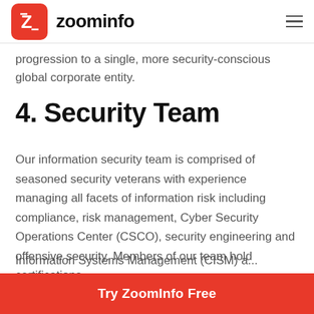zoominfo
progression to a single, more security-conscious global corporate entity.
4. Security Team
Our information security team is comprised of seasoned security veterans with experience managing all facets of information risk including compliance, risk management, Cyber Security Operations Center (CSCO), security engineering and offensive security. Members of our team hold certifications
Try ZoomInfo Free
Information Systems Management (CISM) and